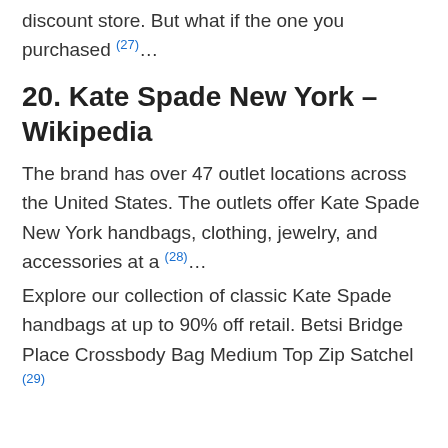discount store. But what if the one you purchased (27)...
20. Kate Spade New York – Wikipedia
The brand has over 47 outlet locations across the United States. The outlets offer Kate Spade New York handbags, clothing, jewelry, and accessories at a (28)...
Explore our collection of classic Kate Spade handbags at up to 90% off retail. Betsi Bridge Place Crossbody Bag Medium Top Zip Satchel (29)